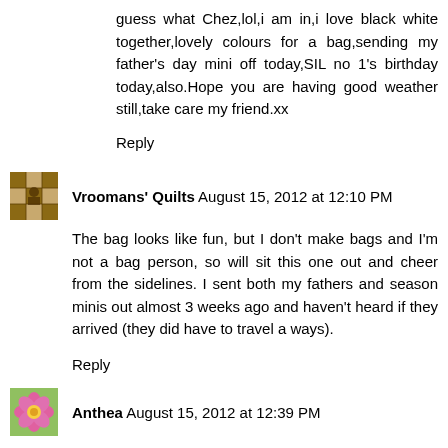guess what Chez,lol,i am in,i love black white together,lovely colours for a bag,sending my father's day mini off today,SIL no 1's birthday today,also.Hope you are having good weather still,take care my friend.xx
Reply
Vroomans' Quilts August 15, 2012 at 12:10 PM
The bag looks like fun, but I don't make bags and I'm not a bag person, so will sit this one out and cheer from the sidelines. I sent both my fathers and season minis out almost 3 weeks ago and haven't heard if they arrived (they did have to travel a ways).
Reply
Anthea August 15, 2012 at 12:39 PM
Yay, I so want to be part of Let's Exchange! Thanks Cheryll, add me to the list. I hope you are having a good break & feeling well again....